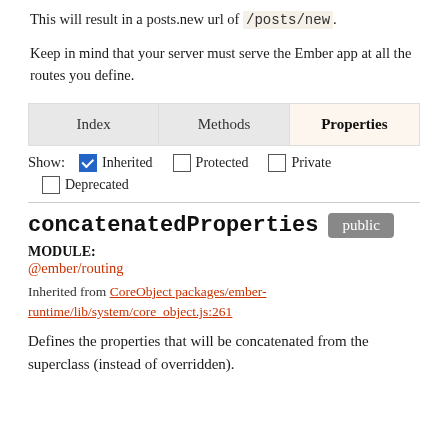This will result in a posts.new url of /posts/new.
Keep in mind that your server must serve the Ember app at all the routes you define.
| Index | Methods | Properties |
| --- | --- | --- |
Show: Inherited Protected Private Deprecated
concatenatedProperties public
MODULE:
@ember/routing
Inherited from CoreObject packages/ember-runtime/lib/system/core_object.js:261
Defines the properties that will be concatenated from the superclass (instead of overridden).